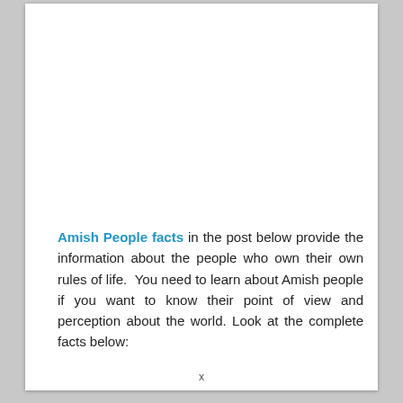Amish People facts in the post below provide the information about the people who own their own rules of life.  You need to learn about Amish people if you want to know their point of view and perception about the world. Look at the complete facts below:
x